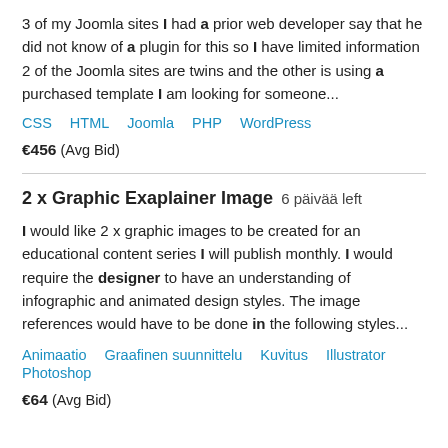3 of my Joomla sites I had a prior web developer say that he did not know of a plugin for this so I have limited information 2 of the Joomla sites are twins and the other is using a purchased template I am looking for someone...
CSS  HTML  Joomla  PHP  WordPress
€456  (Avg Bid)
2 x Graphic Exaplainer Image  6 päivää left
I would like 2 x graphic images to be created for an educational content series I will publish monthly. I would require the designer to have an understanding of infographic and animated design styles. The image references would have to be done in the following styles...
Animaatio  Graafinen suunnittelu  Kuvitus  Illustrator  Photoshop
€64  (Avg Bid)